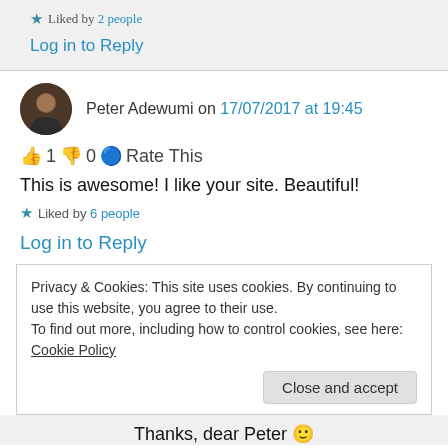★ Liked by 2 people
Log in to Reply
Peter Adewumi on 17/07/2017 at 19:45
👍 1 👎 0 ℹ Rate This
This is awesome! I like your site. Beautiful!
★ Liked by 6 people
Log in to Reply
Privacy & Cookies: This site uses cookies. By continuing to use this website, you agree to their use. To find out more, including how to control cookies, see here: Cookie Policy
Close and accept
Thanks, dear Peter 🙂